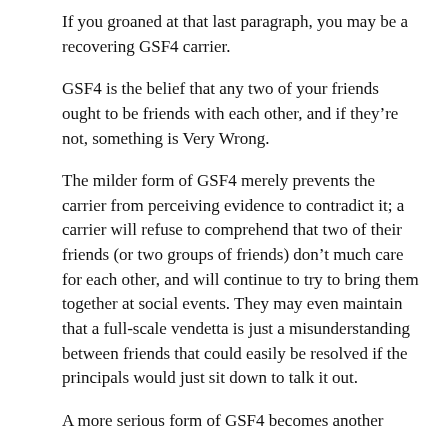If you groaned at that last paragraph, you may be a recovering GSF4 carrier.
GSF4 is the belief that any two of your friends ought to be friends with each other, and if they're not, something is Very Wrong.
The milder form of GSF4 merely prevents the carrier from perceiving evidence to contradict it; a carrier will refuse to comprehend that two of their friends (or two groups of friends) don't much care for each other, and will continue to try to bring them together at social events. They may even maintain that a full-scale vendetta is just a misunderstanding between friends that could easily be resolved if the principals would just sit down to talk it out.
A more serious form of GSF4 becomes another